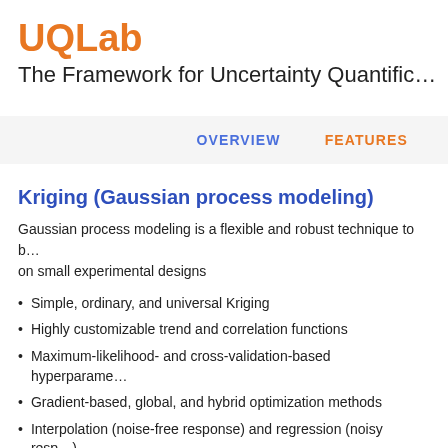UQLab
The Framework for Uncertainty Quantific…
OVERVIEW   FEATURES
Kriging (Gaussian process modeling)
Gaussian process modeling is a flexible and robust technique to b… on small experimental designs
Simple, ordinary, and universal Kriging
Highly customizable trend and correlation functions
Maximum-likelihood- and cross-validation-based hyperparame…
Gradient-based, global, and hybrid optimization methods
Interpolation (noise-free response) and regression (noisy resp…)